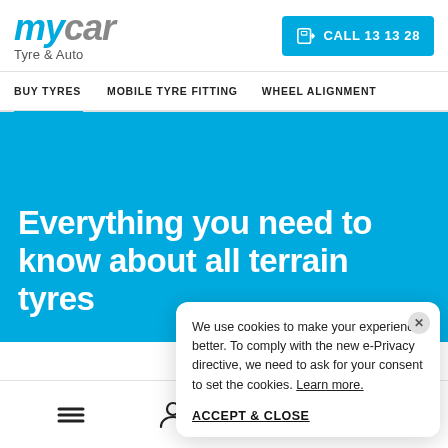[Figure (logo): mycar Tyre & Auto logo with blue 'my' and grey 'car' stylized italic text]
[Figure (other): Blue call button with phone icon and text CALL 13 13 28]
BUY TYRES   MOBILE TYRE FITTING   WHEEL ALIGNMENT
Everything you need to know about all terrain tyres
We use cookies to make your experience better. To comply with the new e-Privacy directive, we need to ask for your consent to set the cookies. Learn more.
ACCEPT & CLOSE
[Figure (infographic): Bottom navigation bar with hamburger menu, person, store/cart, and search icons]